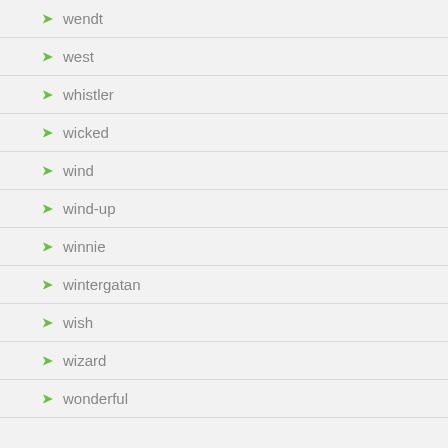wendt
west
whistler
wicked
wind
wind-up
winnie
wintergatan
wish
wizard
wonderful